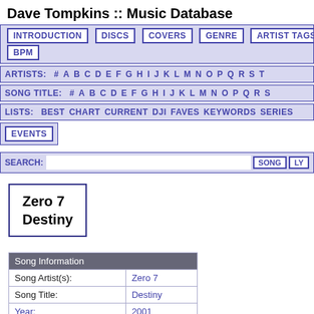Dave Tompkins :: Music Database
INTRODUCTION  DISCS  COVERS  GENRE  ARTIST TAGS  YEAR  BPM
ARTISTS: # A B C D E F G H I J K L M N O P Q R S T
SONG TITLE: # A B C D E F G H I J K L M N O P Q R S
LISTS: BEST CHART CURRENT DJI FAVES KEYWORDS SERIES
EVENTS
SEARCH: [input] SONG LY
Zero 7
Destiny
| Song Information |  |
| --- | --- |
| Song Artist(s): | Zero 7 |
| Song Title: | Destiny |
| Year: | 2001 |